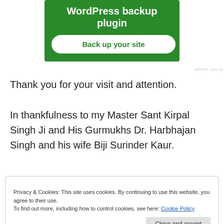[Figure (screenshot): Green advertisement banner for a WordPress backup plugin with a white 'Back up your site' button]
REPORT THIS AD
Thank you for your visit and attention.
In thankfulness to my Master Sant Kirpal Singh Ji and His Gurmukhs Dr. Harbhajan Singh and his wife Biji Surinder Kaur.
Privacy & Cookies: This site uses cookies. By continuing to use this website, you agree to their use.
To find out more, including how to control cookies, see here: Cookie Policy
[Close and accept]